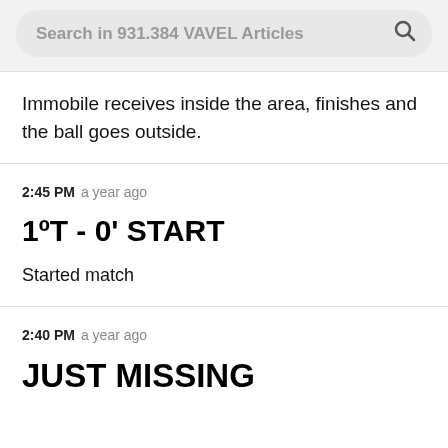Search in 931.384 VAVEL Articles
Immobile receives inside the area, finishes and the ball goes outside.
2:45 PM  a year ago
1ºT - 0' START
Started match
2:40 PM  a year ago
JUST MISSING